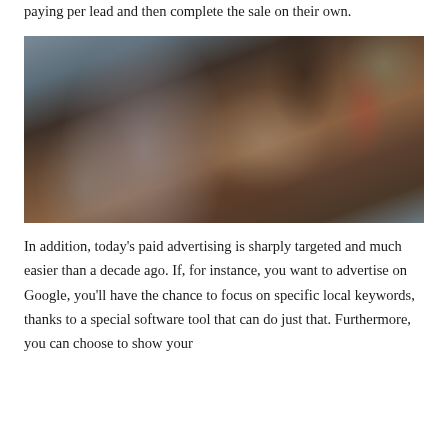paying per lead and then complete the sale on their own.
[Figure (photo): Two people sitting at a wooden table, one wearing a grey sweatshirt with a watch on their wrist, appearing to review documents together. Shot from behind/side angle.]
In addition, today's paid advertising is sharply targeted and much easier than a decade ago. If, for instance, you want to advertise on Google, you'll have the chance to focus on specific local keywords, thanks to a special software tool that can do just that. Furthermore, you can choose to show your